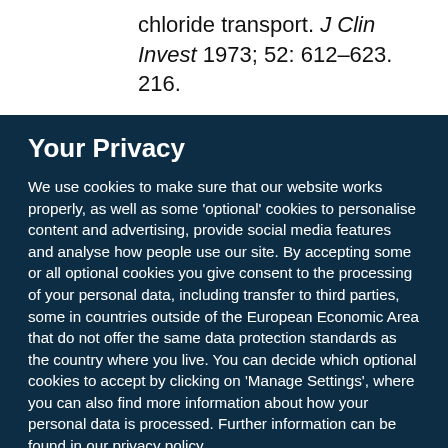chloride transport. J Clin Invest 1973; 52: 612–623. 216.
Your Privacy
We use cookies to make sure that our website works properly, as well as some 'optional' cookies to personalise content and advertising, provide social media features and analyse how people use our site. By accepting some or all optional cookies you give consent to the processing of your personal data, including transfer to third parties, some in countries outside of the European Economic Area that do not offer the same data protection standards as the country where you live. You can decide which optional cookies to accept by clicking on 'Manage Settings', where you can also find more information about how your personal data is processed. Further information can be found in our privacy policy.
Accept all cookies
Manage preferences